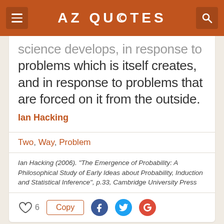AZ QUOTES
science develops, in response to problems which is itself creates, and in response to problems that are forced on it from the outside.
Ian Hacking
Two, Way, Problem
Ian Hacking (2006). "The Emergence of Probability: A Philosophical Study of Early Ideas about Probability, Induction and Statistical Inference", p.33, Cambridge University Press
The important thing is to be able to understand anyone who has something useful to say. There is a